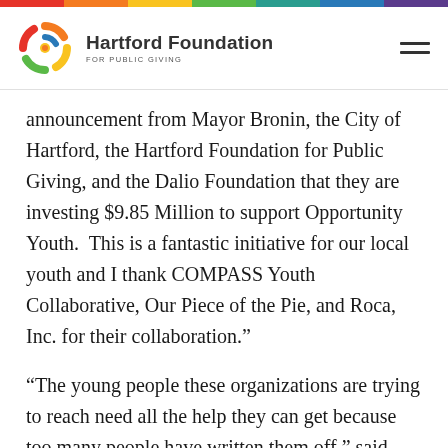[Figure (logo): Hartford Foundation for Public Giving logo with colorful swirl and text]
announcement from Mayor Bronin, the City of Hartford, the Hartford Foundation for Public Giving, and the Dalio Foundation that they are investing $9.85 Million to support Opportunity Youth. This is a fantastic initiative for our local youth and I thank COMPASS Youth Collaborative, Our Piece of the Pie, and Roca, Inc. for their collaboration.”
“The young people these organizations are trying to reach need all the help they can get because too many people have written them off,” said Barbara Dalio, Founder and Director of Dalio Education. “They deserve a chance to make their lives better, to